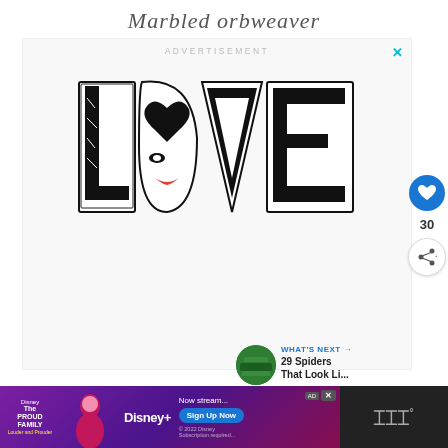Marbled orbweaver
[Figure (illustration): ADVERTISEMENT banner with a decorative 'LOVE' text illustration in black and white graphic art style with faces incorporated into the letters. A close X button appears in the top right of the ad.]
[Figure (illustration): Side buttons: heart/like button (blue circle) with count 30, and share button below it.]
30
[Figure (other): WHAT'S NEXT arrow label with thumbnail and text: 29 Spiders That Look Li...]
[Figure (other): Bottom banner advertisement for Disney+ The Proud Family with 'Now stream...' text and 'Sign Up Now' button. Disney+ logo visible. Copyright 2022 Disney. Subscription required.]